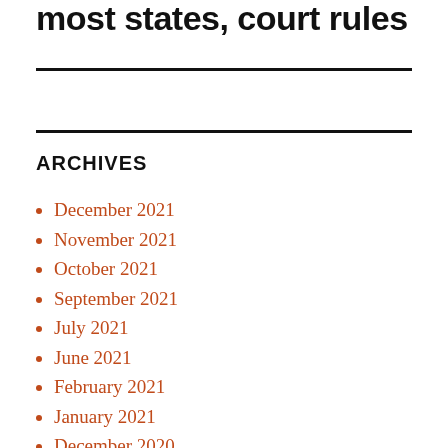most states, court rules
ARCHIVES
December 2021
November 2021
October 2021
September 2021
July 2021
June 2021
February 2021
January 2021
December 2020
November 2020